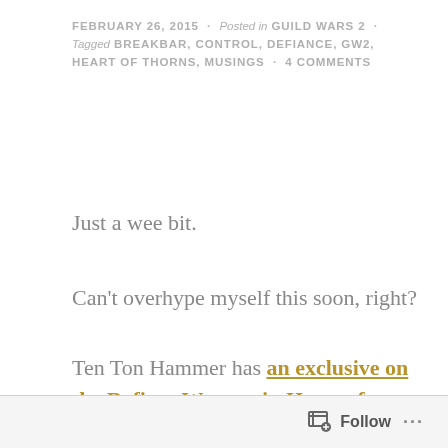FEBRUARY 26, 2015 · Posted in GUILD WARS 2 · Tagged BREAKBAR, CONTROL, DEFIANCE, GW2, HEART OF THORNS, MUSINGS · 4 COMMENTS
Just a wee bit.
Can't overhype myself this soon, right?
Ten Ton Hammer has an exclusive on the Defiant Wyvern in Heart of Thorns, and a later interview with the devs where they clarify more about the new system.
Follow ···